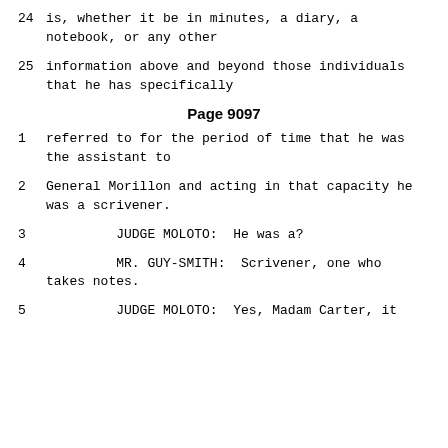24    is, whether it be in minutes, a diary, a notebook, or any other
25    information above and beyond those individuals that he has specifically
Page 9097
1    referred to for the period of time that he was the assistant to
2    General Morillon and acting in that capacity he was a scrivener.
3         JUDGE MOLOTO:  He was a?
4         MR. GUY-SMITH:  Scrivener, one who takes notes.
5         JUDGE MOLOTO:  Yes, Madam Carter, it